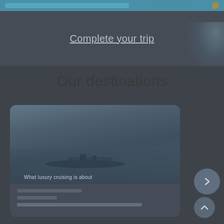Complete your trip
Our destinations
[Figure (screenshot): A travel/cruise website screenshot showing a destination card with a cruise ship image, navigation arrows (right arrow and up arrow) on the right side, and a partially visible right-side panel.]